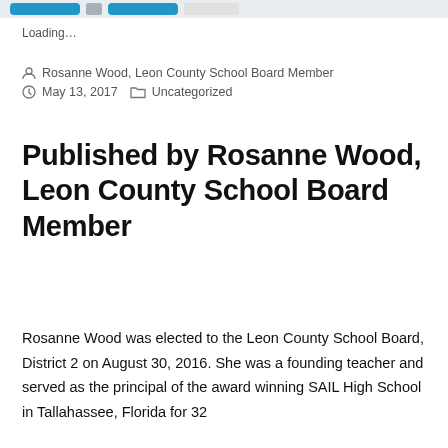Loading…
Rosanne Wood, Leon County School Board Member
May 13, 2017   Uncategorized
Published by Rosanne Wood, Leon County School Board Member
Rosanne Wood was elected to the Leon County School Board, District 2 on August 30, 2016. She was a founding teacher and served as the principal of the award winning SAIL High School in Tallahassee, Florida for 32